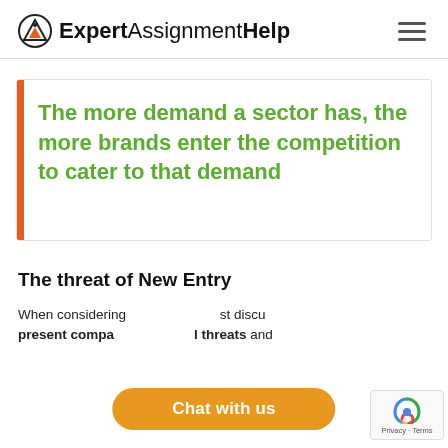ExpertAssignmentHelp
The more demand a sector has, the more brands enter the competition to cater to that demand
The threat of New Entry
When considering [obscured] must discuss present company [obscured] threats and